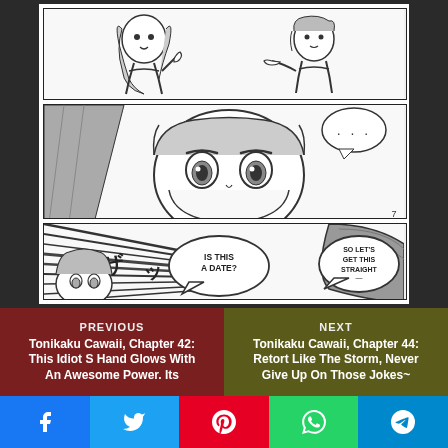[Figure (illustration): Manga comic page showing three panels: Panel 1 shows two anime characters facing each other; Panel 2 shows a close-up of an anime character with wide eyes and a speech bubble with dots; Panel 3 shows dramatic action lines with speech bubbles reading 'IS THIS A DATE?' and 'SO LET'S GET THIS STRAIGHT —']
PREVIOUS
Tonikaku Cawaii, Chapter 42: This Idiot S Hand Glows With An Awesome Power. Its
NEXT
Tonikaku Cawaii, Chapter 44: Retort Like The Storm, Never Give Up On Those Jokes~